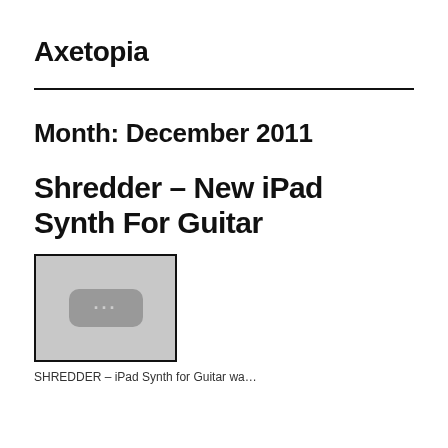Axetopia
Month: December 2011
Shredder – New iPad Synth For Guitar
[Figure (screenshot): Thumbnail image placeholder with three dots icon on gray background, bordered with black rectangle]
SHREDDER – iPad Synth for Guitar wa…